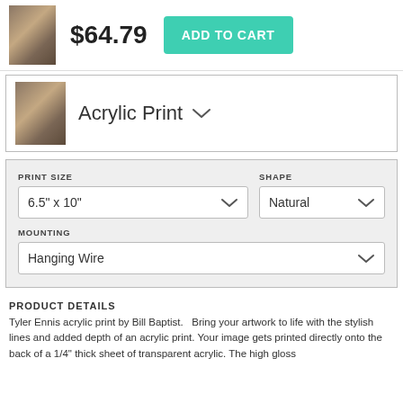$64.79
ADD TO CART
Acrylic Print
PRINT SIZE
6.5" x 10"
SHAPE
Natural
MOUNTING
Hanging Wire
PRODUCT DETAILS
Tyler Ennis acrylic print by Bill Baptist.   Bring your artwork to life with the stylish lines and added depth of an acrylic print. Your image gets printed directly onto the back of a 1/4" thick sheet of transparent acrylic. The high gloss...